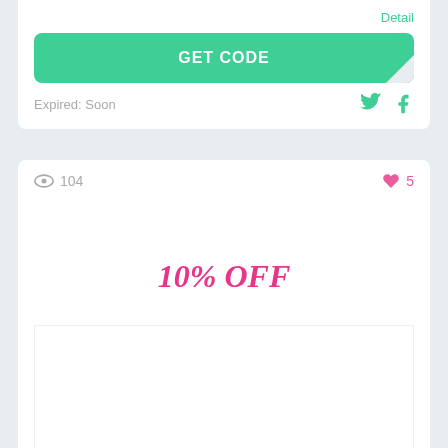Detail
GET CODE
Expired: Soon
104
5
10% OFF
Save with 10% off on all orders